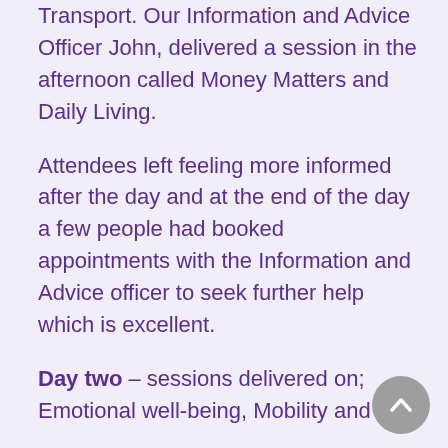Transport. Our Information and Advice Officer John, delivered a session in the afternoon called Money Matters and Daily Living.
Attendees left feeling more informed after the day and at the end of the day a few people had booked appointments with the Information and Advice officer to seek further help which is excellent.
Day two – sessions delivered on; Emotional well-being, Mobility and